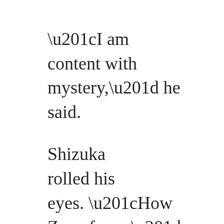“I am content with mystery,” he said.
Shizuka rolled his eyes. “How Zen of you.” He refreshed Hamamura’s tea and said, “So when are you going to challenge Sakajirou?”